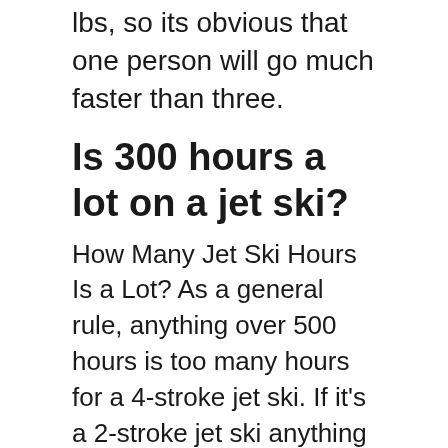lbs, so its obvious that one person will go much faster than three.
Is 300 hours a lot on a jet ski?
How Many Jet Ski Hours Is a Lot? As a general rule, anything over 500 hours is too many hours for a 4-stroke jet ski. If it's a 2-stroke jet ski anything over 300 hours is too many.
[Figure (infographic): Teal call-to-action box with label 'THIS IS EXCITING:' and text 'How much does a 15 foot Coleman canoe weight?' with a right-arrow chevron on the right side.]
Can you turn on a jet ski out